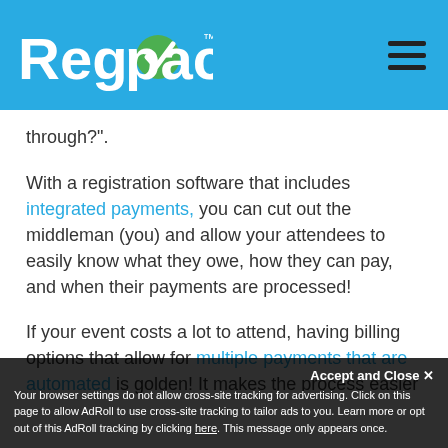Regpack
through?".
With a registration software that includes integrated payments, you can cut out the middleman (you) and allow your attendees to easily know what they owe, how they can pay, and when their payments are processed!
If your event costs a lot to attend, having billing options that allow for multiple payments that are automated is golden! It makes the process easier
Accept and Close ✕
Your browser settings do not allow cross-site tracking for advertising. Click on this page to allow AdRoll to use cross-site tracking to tailor ads to you. Learn more or opt out of this AdRoll tracking by clicking here. This message only appears once.